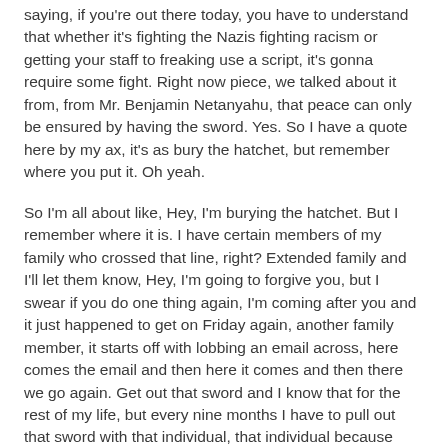saying, if you're out there today, you have to understand that whether it's fighting the Nazis fighting racism or getting your staff to freaking use a script, it's gonna require some fight. Right now piece, we talked about it from, from Mr. Benjamin Netanyahu, that peace can only be ensured by having the sword. Yes. So I have a quote here by my ax, it's as bury the hatchet, but remember where you put it. Oh yeah.
So I'm all about like, Hey, I'm burying the hatchet. But I remember where it is. I have certain members of my family who crossed that line, right? Extended family and I'll let them know, Hey, I'm going to forgive you, but I swear if you do one thing again, I'm coming after you and it just happened to get on Friday again, another family member, it starts off with lobbing an email across, here comes the email and then here it comes and then there we go again. Get out that sword and I know that for the rest of my life, but every nine months I have to pull out that sword with that individual, that individual because certain people only respect the sword. So understand if you're out there today, success requires some fighting. Jason, what's the next notable